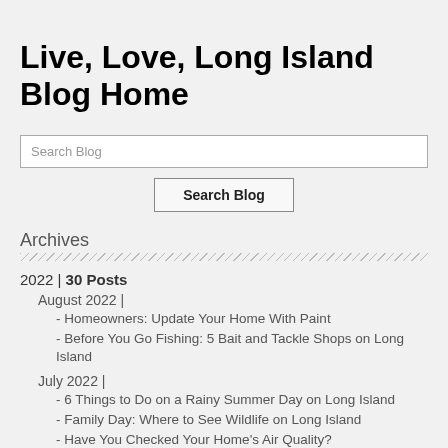Live, Love, Long Island Blog Home
Search Blog
Search Blog
Archives
2022 | 30 Posts
August 2022 |
- Homeowners: Update Your Home With Paint
- Before You Go Fishing: 5 Bait and Tackle Shops on Long Island
July 2022 |
- 6 Things to Do on a Rainy Summer Day on Long Island
- Family Day: Where to See Wildlife on Long Island
- Have You Checked Your Home's Air Quality?
- Cat's Meow: Get Your Home Ready for a New Pet